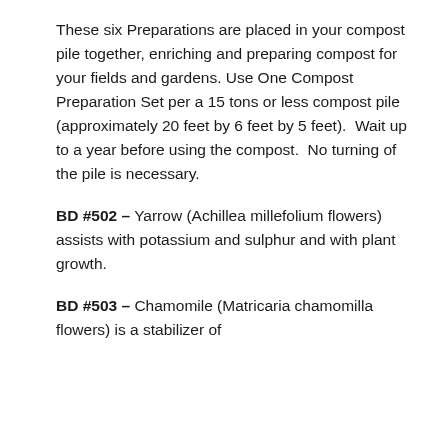These six Preparations are placed in your compost pile together, enriching and preparing compost for your fields and gardens. Use One Compost Preparation Set per a 15 tons or less compost pile (approximately 20 feet by 6 feet by 5 feet).  Wait up to a year before using the compost.  No turning of the pile is necessary.
BD #502 – Yarrow (Achillea millefolium flowers) assists with potassium and sulphur and with plant growth.
BD #503 – Chamomile (Matricaria chamomilla flowers) is a stabilizer of...